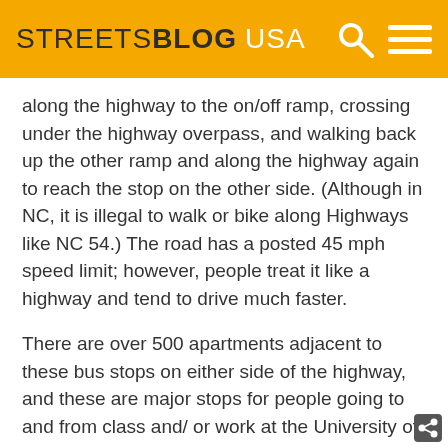STREETSBLOG USA
along the highway to the on/off ramp, crossing under the highway overpass, and walking back up the other ramp and along the highway again to reach the stop on the other side. (Although in NC, it is illegal to walk or bike along Highways like NC 54.) The road has a posted 45 mph speed limit; however, people treat it like a highway and tend to drive much faster.
There are over 500 apartments adjacent to these bus stops on either side of the highway, and these are major stops for people going to and from class and/ or work at the University of North Carolina at Chapel Hill with 250 people getting on or off of the bus at these stops (based on 2012